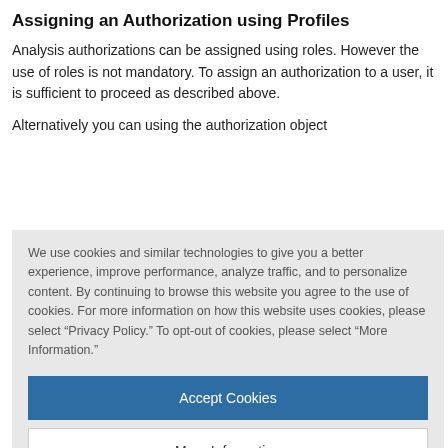Assigning an Authorization using Profiles
Analysis authorizations can be assigned using roles. However the use of roles is not mandatory. To assign an authorization to a user, it is sufficient to proceed as described above.
Alternatively you can using the authorization object
[Figure (screenshot): Cookie consent overlay with 'Accept Cookies' and 'More Information' buttons, and a TrustArc powered-by footer. Text reads: We use cookies and similar technologies to give you a better experience, improve performance, analyze traffic, and to personalize content. By continuing to browse this website you agree to the use of cookies. For more information on how this website uses cookies, please select “Privacy Policy.” To opt-out of cookies, please select “More Information.”]
mixed scenarios, in other words, assignments from